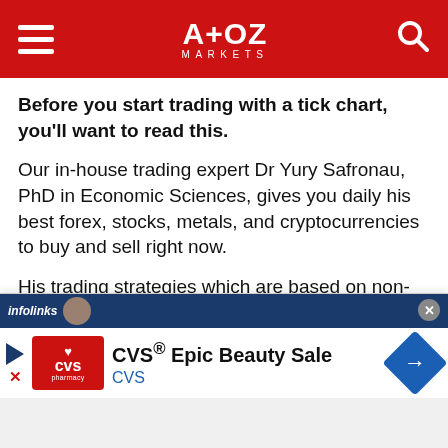A+OZ MARKETS
Before you start trading with a tick chart, you'll want to read this.
Our in-house trading expert Dr Yury Safronau, PhD in Economic Sciences, gives you daily his best forex, stocks, metals, and cryptocurrencies to buy and sell right now.
His trading strategies which are based on non-linear dynamic models have achieved more than 65000
[Figure (screenshot): Infolinks advertisement overlay showing CVS Epic Beauty Sale ad with CVS pharmacy logo, play button, close button, and navigation arrow icon]